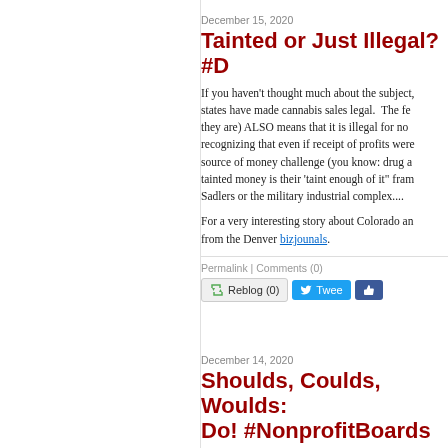December 15, 2020
Tainted or Just Illegal? #...
If you haven't thought much about the subject, states have made cannabis sales legal. The fe... they are) ALSO means that it is illegal for no... recognizing that even if receipt of profits were... source of money challenge (you know: drug a... tainted money is their 'taint enough of it" fra... Sadlers or the military industrial complex....
For a very interesting story about Colorado a... from the Denver bizjounals.
Permalink | Comments (0)
Reblog (0)  Tweet  [Like]
December 14, 2020
Shoulds, Coulds, Woulds: Do! #NonprofitBoards
In the world of hot buttons that irritate me (a... demand that a primary responsibility and ever... executives and foundations (who want nonpro... dependency on the foundation - both meritori...